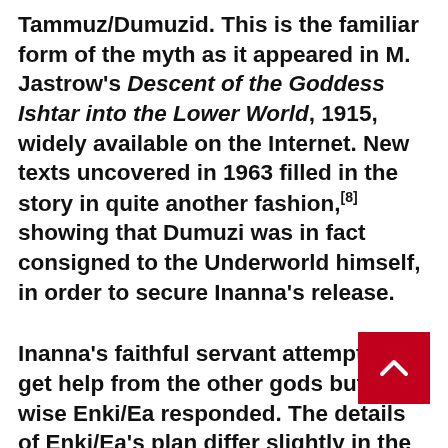Tammuz/Dumuzid. This is the familiar form of the myth as it appeared in M. Jastrow's Descent of the Goddess Ishtar into the Lower World, 1915, widely available on the Internet. New texts uncovered in 1963 filled in the story in quite another fashion,[8] showing that Dumuzi was in fact consigned to the Underworld himself, in order to secure Inanna's release.
Inanna's faithful servant attempted to get help from the other gods but only wise Enki/Ea responded. The details of Enki/Ea's plan differ slightly in the two surviving accounts, but in the end, Inanna/Ishtar was resurrected. However, a "conservation of souls" law required her to find a replacement for herself in Kur. She went from one god to another, but each one pleaded with her and she had not the heart